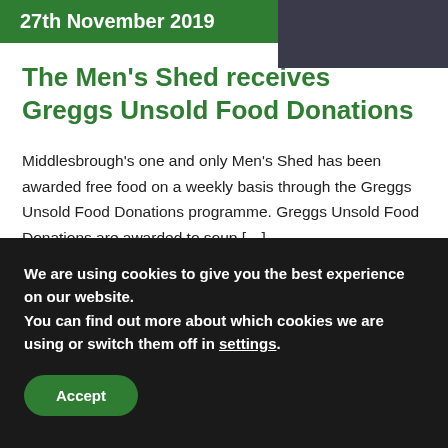27th November 2019
The Men’s Shed receives Greggs Unsold Food Donations
Middlesbrough’s one and only Men’s Shed has been awarded free food on a weekly basis through the Greggs Unsold Food Donations programme. Greggs Unsold Food Donations are awarded to soup […]
We are using cookies to give you the best experience on our website.
You can find out more about which cookies we are using or switch them off in settings.
Accept